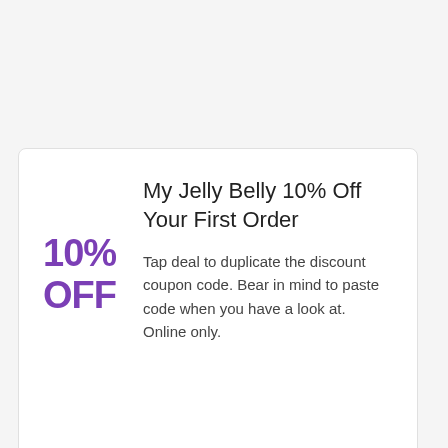My Jelly Belly 10% Off Your First Order
[Figure (infographic): Purple bold text showing '10% OFF' discount badge on left side of card]
Tap deal to duplicate the discount coupon code. Bear in mind to paste code when you have a look at. Online only.